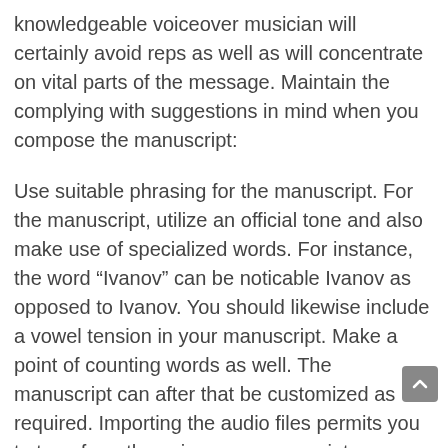knowledgeable voiceover musician will certainly avoid reps as well as will concentrate on vital parts of the message. Maintain the complying with suggestions in mind when you compose the manuscript:
Use suitable phrasing for the manuscript. For the manuscript, utilize an official tone and also make use of specialized words. For instance, the word “Ivanov” can be noticable Ivanov as opposed to Ivanov. You should likewise include a vowel tension in your manuscript. Make a point of counting words as well. The manuscript can after that be customized as required. Importing the audio files permits you to transform the voiceover manuscript.
Prepare the voiceover manuscript beforehand. If you’re mosting likely to tape-record a voiceover for a video clip, you